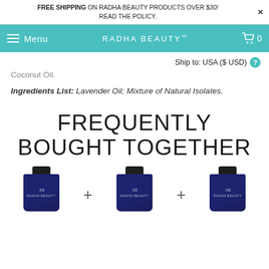FREE SHIPPING ON RADHA BEAUTY PRODUCTS OVER $30! READ THE POLICY.
Menu  RADHA BEAUTY™  0
Ship to: USA ($ USD)
Coconut Oil.
Ingredients List: Lavender Oil; Mixture of Natural Isolates.
FREQUENTLY BOUGHT TOGETHER
[Figure (photo): Three dark blue essential oil bottles with black caps arranged in a row with plus signs between them, Radha Beauty branded products]